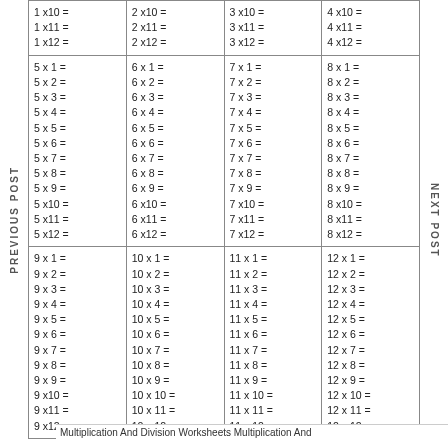| 1x10=
1x11=
1x12= | 2x10=
2x11=
2x12= | 3x10=
3x11=
3x12= | 4x10=
4x11=
4x12= |
| 5x1=
5x2=
5x3=
5x4=
5x5=
5x6=
5x7=
5x8=
5x9=
5x10=
5x11=
5x12= | 6x1=
6x2=
6x3=
6x4=
6x5=
6x6=
6x7=
6x8=
6x9=
6x10=
6x11=
6x12= | 7x1=
7x2=
7x3=
7x4=
7x5=
7x6=
7x7=
7x8=
7x9=
7x10=
7x11=
7x12= | 8x1=
8x2=
8x3=
8x4=
8x5=
8x6=
8x7=
8x8=
8x9=
8x10=
8x11=
8x12= |
| 9x1=
9x2=
9x3=
9x4=
9x5=
9x6=
9x7=
9x8=
9x9=
9x10=
9x11=
9x12= | 10x1=
10x2=
10x3=
10x4=
10x5=
10x6=
10x7=
10x8=
10x9=
10x10=
10x11=
10x12= | 11x1=
11x2=
11x3=
11x4=
11x5=
11x6=
11x7=
11x8=
11x9=
11x10=
11x11=
11x12= | 12x1=
12x2=
12x3=
12x4=
12x5=
12x6=
12x7=
12x8=
12x9=
12x10=
12x11=
12x12= |
Multiplication And Division Worksheets Multiplication And